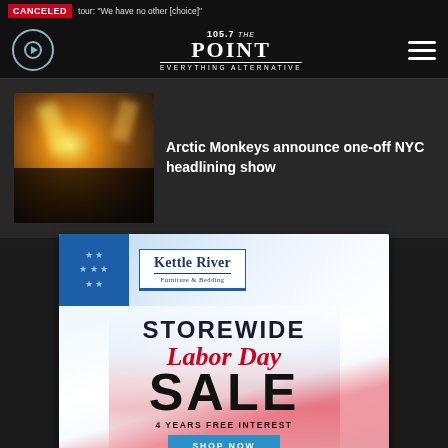CANCELED · tour: "We have no other [choice]"
[Figure (logo): 105.7 The Point - Everything Alternative radio station logo]
Arctic Monkeys announce one-off NYC headlining show
[Figure (photo): Concert photo showing Arctic Monkeys performing on stage with crowd and stage lights]
[Figure (infographic): Kettle River Furniture & Bedding advertisement - Storewide Labor Day Sale, 4 Years Free Interest, Shop Now]
Kettle River Furniture & Bedding - STOREWIDE Labor Day SALE - 4 YEARS FREE INTEREST - SHOP NOW